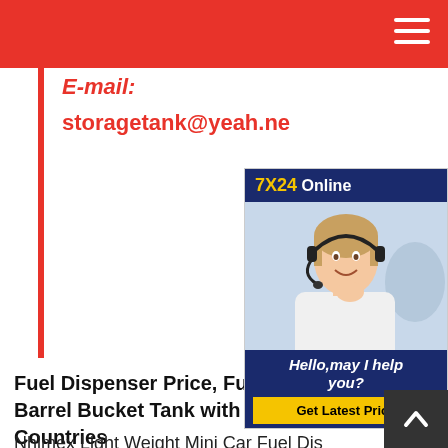E-mail:
storagetank@yeah.ne
[Figure (photo): Customer support representative woman wearing headset with 7X24 Online banner and Get Latest Price button]
Fuel Dispenser Price, Fuel Dispenser L Barrel Bucket Tank with Dispenser Ex Countries
Nhimex Light Weight Mini Car Fuel Dis Price with ReelBluesky Cheaper Price H Pumps Fuel Dispenser for Petrol StationChina Manufacturer Fuel Pump Best Price Fuel Dispenser 2-Products 2-Nozzle 4-Display for Gas StationReaable Price Manual Fuel Dispenser Nozzle Tatsuno China Oil Tank Dispenser, Oil Tank Dispenser Wholesale Fue Barrel Bucket Tank with Dispenser Export to Global